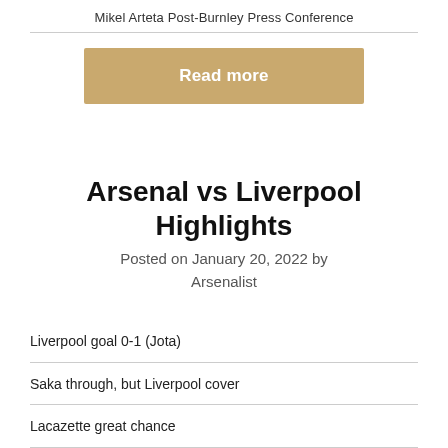Mikel Arteta Post-Burnley Press Conference
[Figure (other): Read more button (tan/gold colored call-to-action button)]
Arsenal vs Liverpool Highlights
Posted on January 20, 2022 by Arsenalist
Liverpool goal 0-1 (Jota)
Saka through, but Liverpool cover
Lacazette great chance